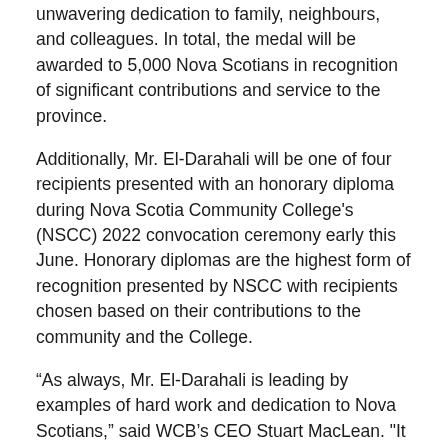unwavering dedication to family, neighbours, and colleagues. In total, the medal will be awarded to 5,000 Nova Scotians in recognition of significant contributions and service to the province.
Additionally, Mr. El-Darahali will be one of four recipients presented with an honorary diploma during Nova Scotia Community College's (NSCC) 2022 convocation ceremony early this June. Honorary diplomas are the highest form of recognition presented by NSCC with recipients chosen based on their contributions to the community and the College.
“As always, Mr. El-Darahali is leading by examples of hard work and dedication to Nova Scotians,” said WCB’s CEO Stuart MacLean. "It is an honour to have him guiding our organization. On behalf of all WCB employees, the Executive team, and our Board of Directors, I would like to congratulate him on these exceptional recognitions."